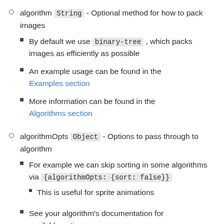algorithm String - Optional method for how to pack images
By default we use binary-tree , which packs images as efficiently as possible
An example usage can be found in the Examples section
More information can be found in the Algorithms section
algorithmOpts Object - Options to pass through to algorithm
For example we can skip sorting in some algorithms via {algorithmOpts: {sort: false}}
This is useful for sprite animations
See your algorithm's documentation for available options